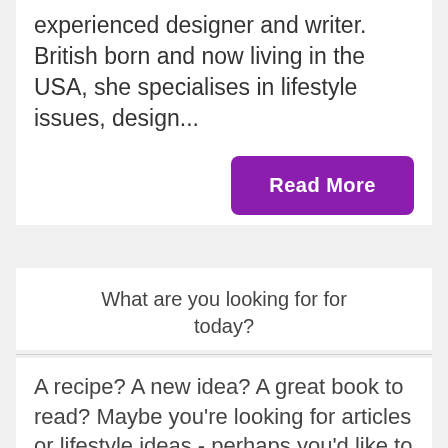experienced designer and writer. British born and now living in the USA, she specialises in lifestyle issues, design...
Read More
What are you looking for today?
A recipe? A new idea? A great book to read? Maybe you're looking for articles or lifestyle ideas - perhaps you'd like to read the opinions and views of a variety of writers...